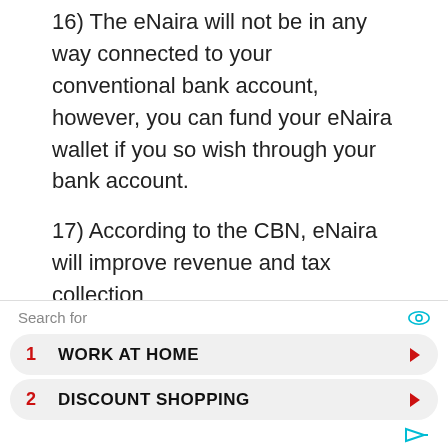16) The eNaira will not be in any way connected to your conventional bank account, however, you can fund your eNaira wallet if you so wish through your bank account.
17) According to the CBN, eNaira will improve revenue and tax collection
18) It is a power of blockchain, meaning it may not necessarily improve the value of the naira notes if the apex bank failed to improve on its forex and economic policies
[Figure (infographic): Advertisement block with 'Search for' label and eye icon, two items: 1) WORK AT HOME, 2) DISCOUNT SHOPPING, with arrow buttons, and a small icon at bottom right]